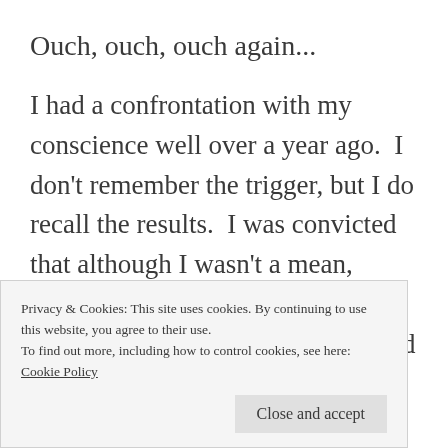Ouch, ouch, ouch again...
I had a confrontation with my conscience well over a year ago.  I don't remember the trigger, but I do recall the results.  I was convicted that although I wasn't a mean, hateful or heartless person, I was also not living up to the hype.  I did not walk the talk I was teaching.  I needed to make a positive
Privacy & Cookies: This site uses cookies. By continuing to use this website, you agree to their use.
To find out more, including how to control cookies, see here:
Cookie Policy